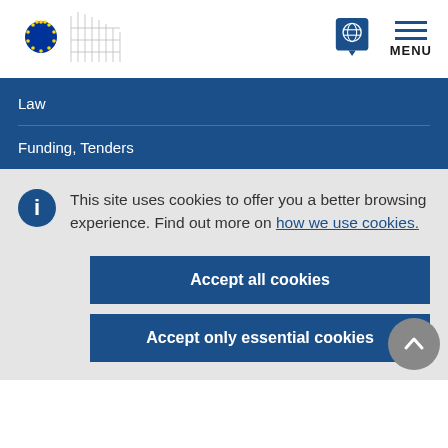European Commission logo | Globe icon | MENU
Law
Funding, Tenders
This site uses cookies to offer you a better browsing experience. Find out more on how we use cookies.
Accept all cookies
Accept only essential cookies